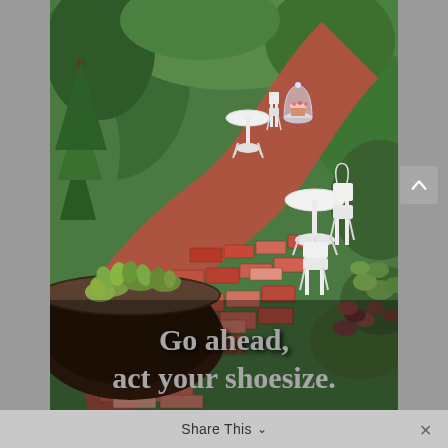[Figure (photo): A miniature fairy garden scene with a winding red brick path, small white ornate furniture (table and chairs with a glass dome cake stand), surrounded by succulents, green plants, and a small tree. Text overlay reads 'Go ahead, act your shoesize.' in white bold serif font.]
Share This ∨